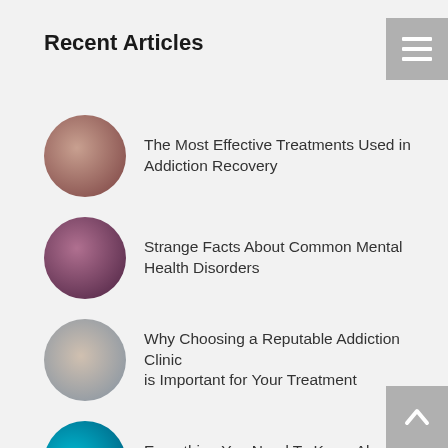Recent Articles
The Most Effective Treatments Used in Addiction Recovery
Strange Facts About Common Mental Health Disorders
Why Choosing a Reputable Addiction Clinic is Important for Your Treatment
Everything You Need To Know About Online Counselling Services
South Africa is Still Fighting The Endless War On Drugs
Life Experiences Of People With Relational Trauma